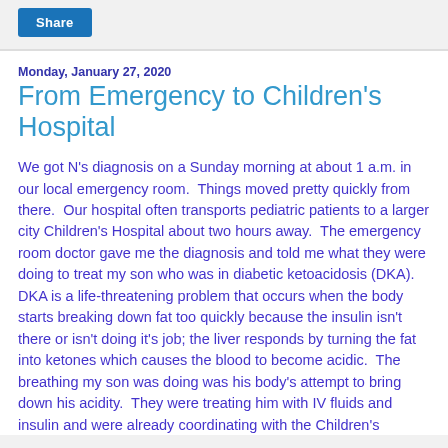[Figure (other): Share button UI element with blue background and white text]
Monday, January 27, 2020
From Emergency to Children's Hospital
We got N's diagnosis on a Sunday morning at about 1 a.m. in our local emergency room.  Things moved pretty quickly from there.  Our hospital often transports pediatric patients to a larger city Children's Hospital about two hours away.  The emergency room doctor gave me the diagnosis and told me what they were doing to treat my son who was in diabetic ketoacidosis (DKA).  DKA is a life-threatening problem that occurs when the body starts breaking down fat too quickly because the insulin isn't there or isn't doing it's job; the liver responds by turning the fat into ketones which causes the blood to become acidic.  The breathing my son was doing was his body's attempt to bring down his acidity.  They were treating him with IV fluids and insulin and were already coordinating with the Children's Hospital to transfer him.  Our ER doctor warned me that he would go to the Intensive Care